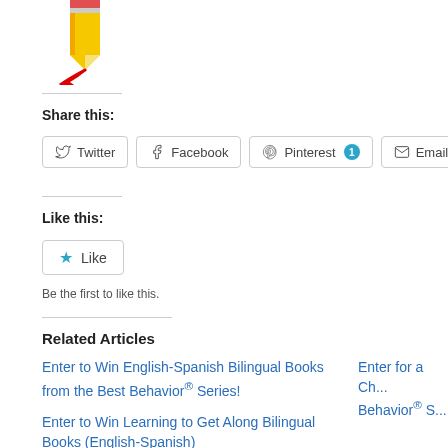[Figure (illustration): A pencil icon with a red ribbon/curl, partially cut at top of page]
Share this:
[Figure (screenshot): Social share buttons: Twitter, Facebook, Pinterest (with badge 1), Email]
Like this:
[Figure (screenshot): Like button with star icon]
Be the first to like this.
Related Articles
Enter to Win English-Spanish Bilingual Books from the Best Behavior® Series!
Enter for a Ch... Behavior® S...
Enter to Win Learning to Get Along Bilingual Books (English-Spanish)